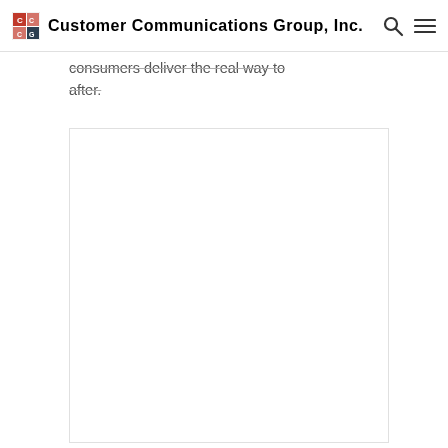Customer Communications Group, Inc.
consumers deliver the real way to after.
[Figure (other): Large white rectangular image placeholder with light border]